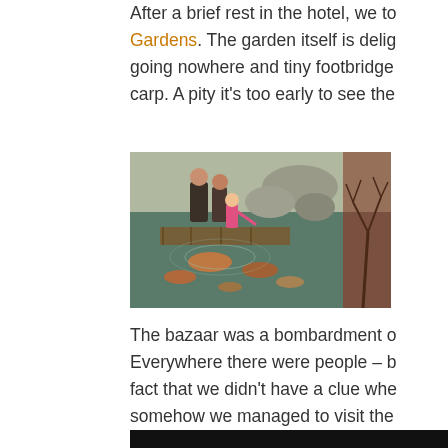After a brief rest in the hotel, we to Gardens. The garden itself is delig going nowhere and tiny footbridge carp. A pity it's too early to see the
[Figure (photo): People including a child in a pink jacket feeding koi/carp fish in a pond from a wooden walkway, with rocks in the background. A second partial photo shows a reddish-brown outdoor scene.]
The bazaar was a bombardment o Everywhere there were people – b fact that we didn't have a clue whe somehow we managed to visit the tasting and see the lanterns light u come to a close. We even got our clearly impressed to have come a
[Figure (photo): Bottom partial photo, very dark/black.]